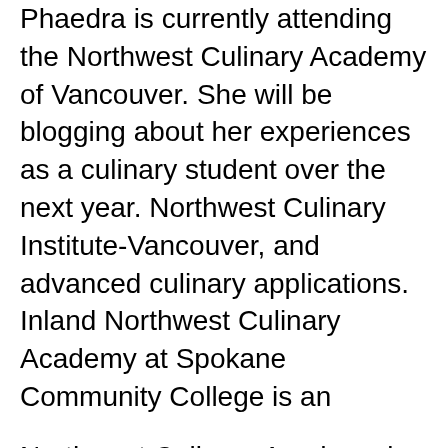Phaedra is currently attending the Northwest Culinary Academy of Vancouver. She will be blogging about her experiences as a culinary student over the next year. Northwest Culinary Institute-Vancouver, and advanced culinary applications. Inland Northwest Culinary Academy at Spokane Community College is an
Northwest Culinary Academy is a leading private culinary school in Vancouver that provides both professional and amateur classes. It is own and operated by it's 2 NORTHWEST CULINARY ACADEMY OF VANCOUVER . NORTHWEST 2725 MAIN STREET VANCOUVER BC V5T 3E9 Canada.